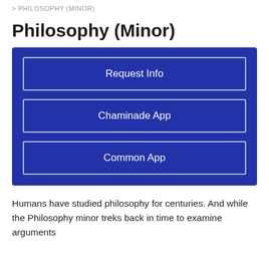> PHILOSOPHY (MINOR)
Philosophy (Minor)
[Figure (other): Blue box containing three call-to-action buttons: Request Info, Chaminade App, Common App]
Humans have studied philosophy for centuries. And while the Philosophy minor treks back in time to examine arguments